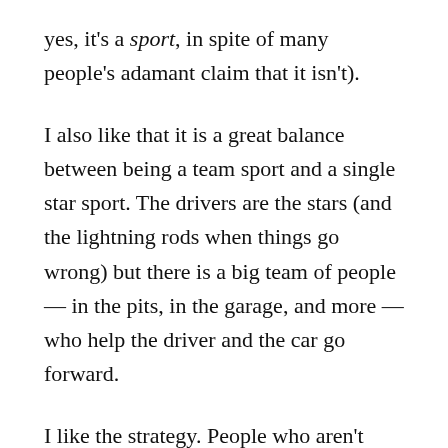yes, it's a sport, in spite of many people's adamant claim that it isn't).
I also like that it is a great balance between being a team sport and a single star sport. The drivers are the stars (and the lightning rods when things go wrong) but there is a big team of people — in the pits, in the garage, and more — who help the driver and the car go forward.
I like the strategy. People who aren't familiar